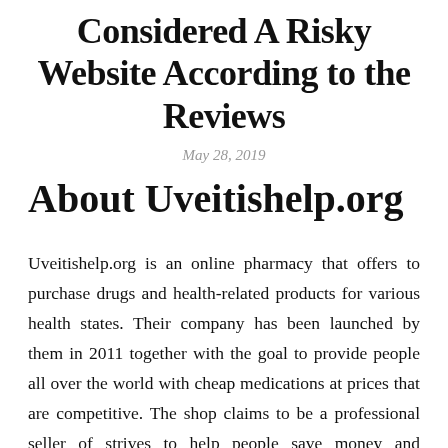Considered A Risky Website According to the Reviews
May 28, 2019
About Uveitishelp.org
Uveitishelp.org is an online pharmacy that offers to purchase drugs and health-related products for various health states. Their company has been launched by them in 2011 together with the goal to provide people all over the world with cheap medications at prices that are competitive. The shop claims to be a professional seller of strives to help people save money and medications and efforts. Uveitishelp.org cooperates with medication that is